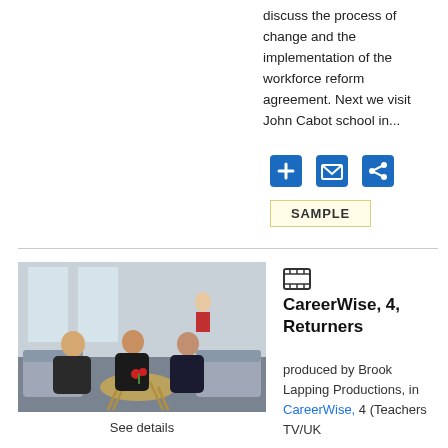discuss the process of change and the implementation of the workforce reform agreement. Next we visit John Cabot school in...
[Figure (screenshot): Three social media/action icons: blue plus button, blue envelope/email button, blue share button]
SAMPLE
[Figure (photo): Three people sitting on sofas in a modern studio setting, having a discussion around a glass coffee table]
See details
CareerWise, 4, Returners
produced by Brook Lapping Productions, in CareerWise, 4 (Teachers TV/UK